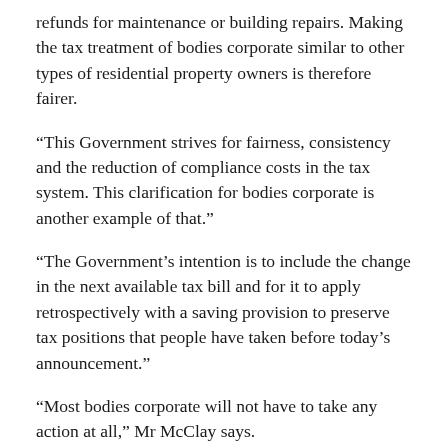refunds for maintenance or building repairs.  Making the tax treatment of bodies corporate similar to other types of residential property owners is therefore fairer.
“This Government strives for fairness, consistency and the reduction of compliance costs in the tax system. This clarification for bodies corporate is another example of that.”
“The Government’s intention is to include the change in the next available tax bill and for it to apply retrospectively with a saving provision to preserve tax positions that people have taken before today’s announcement.”
“Most bodies corporate will not have to take any action at all,” Mr McClay says.
A consultation paper has been prepared to show how the changes would be put into effect. The Government invites submissions on whether the proposed new rules achieve the